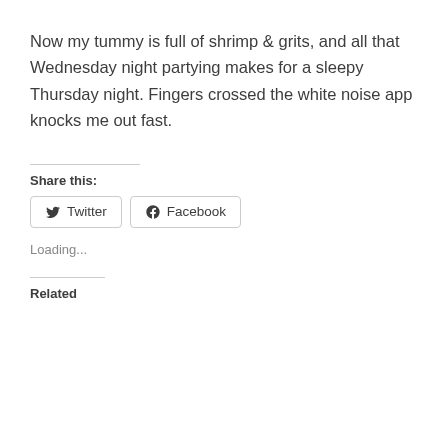Now my tummy is full of shrimp & grits, and all that Wednesday night partying makes for a sleepy Thursday night. Fingers crossed the white noise app knocks me out fast.
Share this:
[Figure (other): Twitter and Facebook share buttons]
Loading...
Related